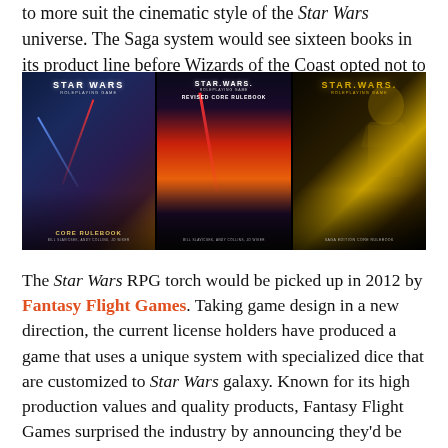to more suit the cinematic style of the Star Wars universe. The Saga system would see sixteen books in its product line before Wizards of the Coast opted not to renew their license in 2010.
[Figure (photo): Three Star Wars roleplaying game book covers side by side: Core Rulebook, Revised Core Rulebook, and Saga Edition Core Rulebook]
The Star Wars RPG torch would be picked up in 2012 by Fantasy Flight Games. Taking game design in a new direction, the current license holders have produced a game that uses a unique system with specialized dice that are customized to Star Wars galaxy. Known for its high production values and quality products, Fantasy Flight Games surprised the industry by announcing they'd be releasing three complete Star Wars RPGs, each focusing on a different aspect of a